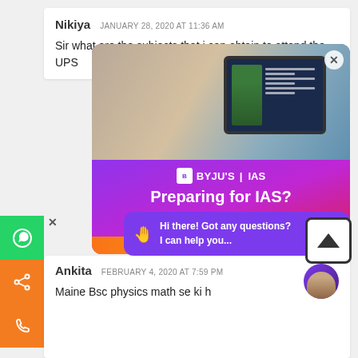Nikiya   JANUARY 28, 2020 AT 11:36 AM
Sir what are the subjects that i can obtain to attend the UPS
[Figure (screenshot): BYJU'S IAS popup advertisement showing a person studying on a tablet, with text 'Preparing for IAS? 100+ hours of Free Prep Material on History, Polity & more!' and a Register button. Overlaid with a chat bubble: 'Hi there! Got any questions? I can help you...']
Ankita   FEBRUARY 4, 2020 AT 7:59 PM
Maine Bsc physics math se ki h